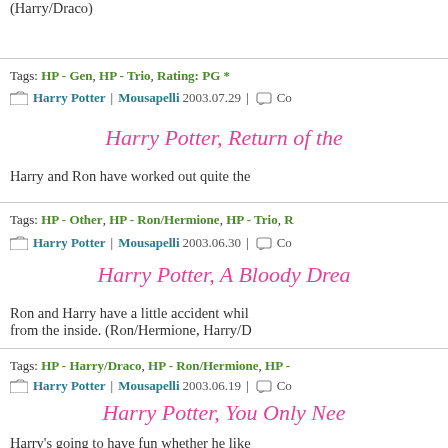(Harry/Draco)
Tags: HP - Gen, HP - Trio, Rating: PG *
Harry Potter | Mousapelli 2003.07.29 | Co...
Harry Potter, Return of the...
Harry and Ron have worked out quite the...
Tags: HP - Other, HP - Ron/Hermione, HP - Trio, R...
Harry Potter | Mousapelli 2003.06.30 | Co...
Harry Potter, A Bloody Drea...
Ron and Harry have a little accident while... from the inside. (Ron/Hermione, Harry/D...
Tags: HP - Harry/Draco, HP - Ron/Hermione, HP -...
Harry Potter | Mousapelli 2003.06.19 | Co...
Harry Potter, You Only Nee...
Harry's going to have fun whether he like...